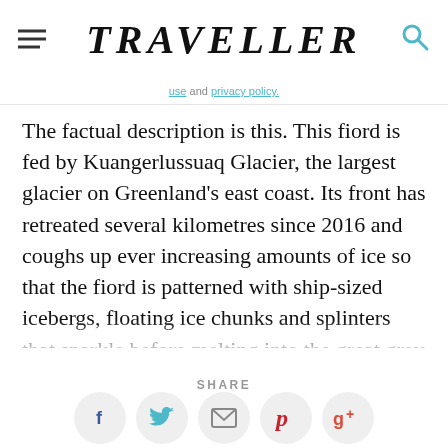TRAVELLER
use and privacy policy.
The factual description is this. This fiord is fed by Kuangerlussuaq Glacier, the largest glacier on Greenland's east coast. Its front has retreated several kilometres since 2016 and coughs up ever increasing amounts of ice so that the fiord is patterned with ship-sized icebergs, floating ice chunks and splinters that sparkle before melting into the great grey Atlantic. The fiord is surrounded by towering cliffs and 1600-metre mountains. Inuit lived here once. You can forage among fallen-apart huts to find abandoned cast-iron stoves, crystal
SHARE